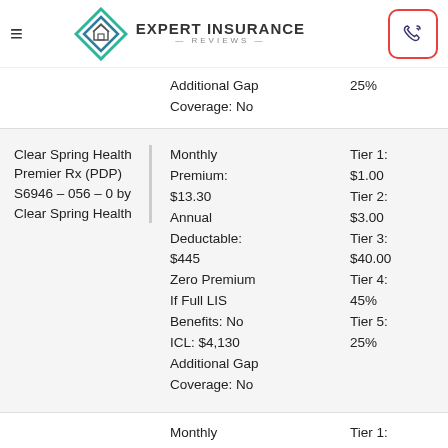Expert Insurance Reviews
Additional Gap Coverage: No    25%
Clear Spring Health Premier Rx (PDP) S6946 – 056 – 0 by Clear Spring Health | Monthly Premium: $13.30 | Annual Deductable: $445 | Zero Premium If Full LIS Benefits: No | ICL: $4,130 | Additional Gap Coverage: No | Tier 1: $1.00 | Tier 2: $3.00 | Tier 3: $40.00 | Tier 4: 45% | Tier 5: 25%
Monthly Premium: Tier 1: